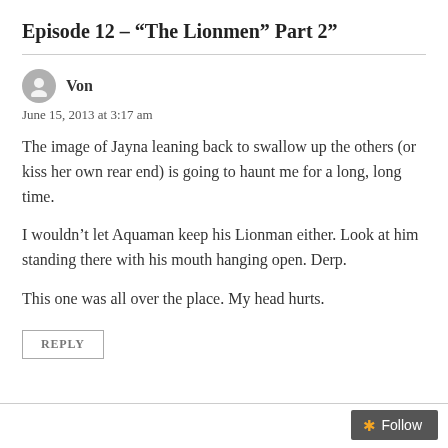Episode 12 – “The Lionmen” Part 2”
Von
June 15, 2013 at 3:17 am
The image of Jayna leaning back to swallow up the others (or kiss her own rear end) is going to haunt me for a long, long time.
I wouldn’t let Aquaman keep his Lionman either. Look at him standing there with his mouth hanging open. Derp.
This one was all over the place. My head hurts.
REPLY